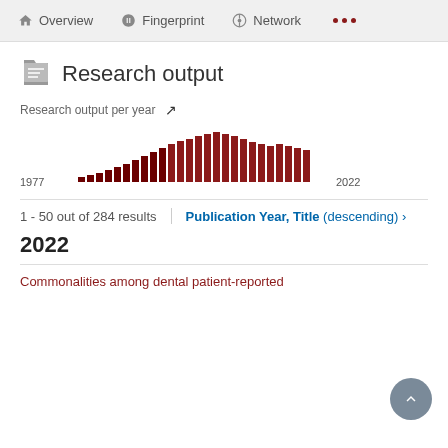Overview   Fingerprint   Network   ...
Research output
Research output per year
[Figure (bar-chart): Research output per year]
1 - 50 out of 284 results
Publication Year, Title (descending) ›
2022
Commonalities among dental patient-reported